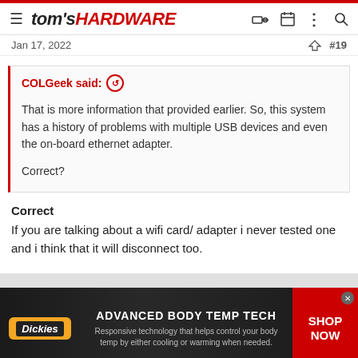tom's HARDWARE
Jan 17, 2022   #19
COLGeek said: ↗ That is more information that provided earlier. So, this system has a history of problems with multiple USB devices and even the on-board ethernet adapter. Correct?
Correct
If you are talking about a wifi card/ adapter i never tested one and i think that it will disconnect too.
[Figure (screenshot): Dickies advertisement banner: ADVANCED BODY TEMP TECH - Responsive technology that helps control your body temp by either cooling or warming when needed. SHOP NOW]